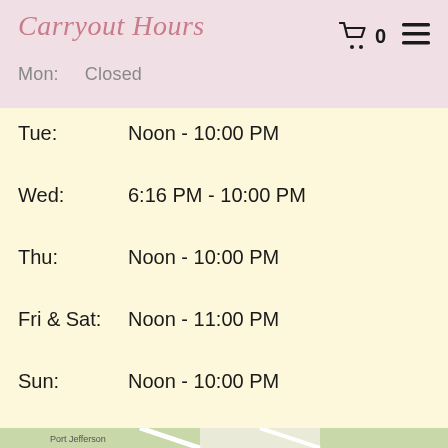Carryout Hours
Mon:   Closed
Tue:   Noon - 10:00 PM
Wed:   6:16 PM - 10:00 PM
Thu:   Noon - 10:00 PM
Fri & Sat:  Noon - 11:00 PM
Sun:   Noon - 10:00 PM
[Figure (map): Google Maps view showing Port Jefferson Station area with streets including Woodhull Ave, Jefferson Blvd, Charm City Dr, Lincoln, Terryville Rd, Nesconset Hwy, Poplar St; nearby places: Davis Professional Park LLC, T.J.Maxx, Colosseo Pizzeria, PJ Cinemas; route 112 marker visible; red location pin dropped on map]